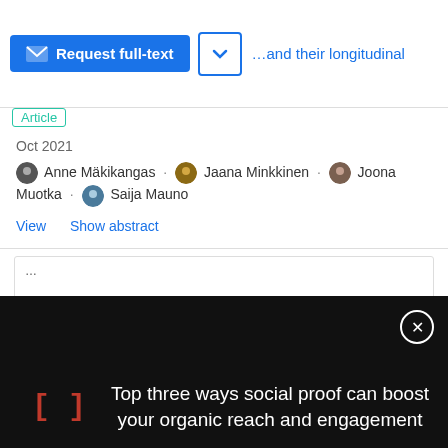[Figure (screenshot): UI bar with 'Request full-text' blue button and a chevron dropdown button, with partial blue title text visible]
Article
Oct 2021
Anne Mäkikangas · Jaana Minkkinen · Joona Muotka · Saija Mauno
View    Show abstract
[Figure (screenshot): Black overlay popup with red bracket symbol '[]' and white text: 'Top three ways social proof can boost your organic reach and engagement' with a close (X) button]
important to provide employees at risk of burnout with feasible workloads, opportunities to influence their work situation (e.g.
[Figure (screenshot): Bottom advertisement banner: CarMax ad with logo 'cm' and text 'See Cars Your Budget Will Love' and 'CarMax', with blue diamond arrow icon]